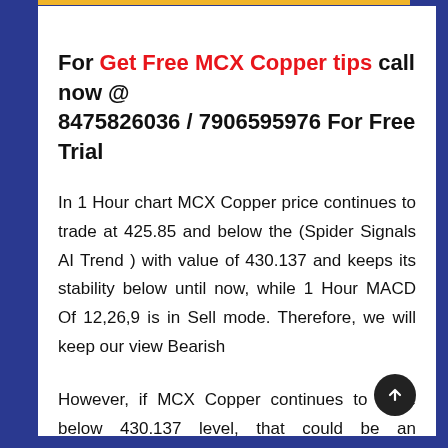For Get Free MCX Copper tips call now @ 8475826036 / 7906595976 For Free Trial
In 1 Hour chart MCX Copper price continues to trade at 425.85 and below the (Spider Signals AI Trend ) with value of 430.137 and keeps its stability below until now, while 1 Hour MACD Of 12,26,9 is in Sell mode. Therefore, we will keep our view Bearish
However, if MCX Copper continues to trade below 430.137 level, that could be an extraordinarily Bearish sign for MCX Copper